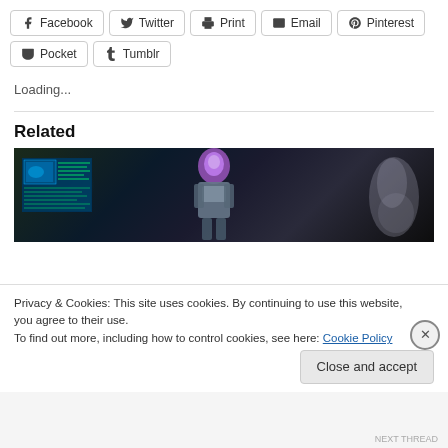Facebook
Twitter
Print
Email
Pinterest
Pocket
Tumblr
Loading...
Related
[Figure (photo): Dark sci-fi image showing a robot/armored figure in center with glowing purple head, digital screens on the left, and smoke/mist on the right against a dark background.]
Privacy & Cookies: This site uses cookies. By continuing to use this website, you agree to their use.
To find out more, including how to control cookies, see here: Cookie Policy
Close and accept